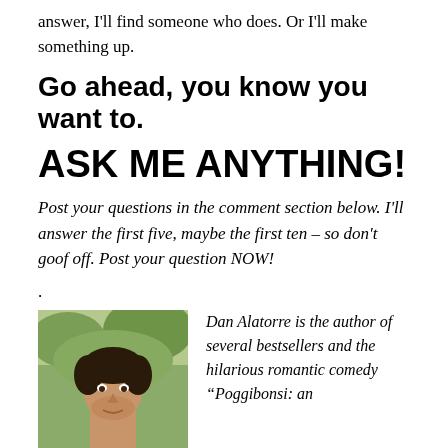answer, I'll find someone who does. Or I'll make something up.
Go ahead, you know you want to.
ASK ME ANYTHING!
Post your questions in the comment section below. I'll answer the first five, maybe the first ten – so don't goof off. Post your question NOW!
.
[Figure (photo): Headshot of Dan Alatorre, a man with dark wavy hair, photographed outdoors.]
Dan Alatorre is the author of several bestsellers and the hilarious romantic comedy “Poggibonsi: an